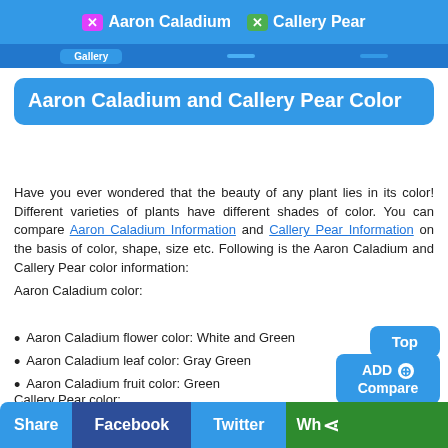X Aaron Caladium  X Callery Pear
Aaron Caladium and Callery Pear Color
Have you ever wondered that the beauty of any plant lies in its color! Different varieties of plants have different shades of color. You can compare Aaron Caladium Information and Callery Pear Information on the basis of color, shape, size etc. Following is the Aaron Caladium and Callery Pear color information:
Aaron Caladium color:
Aaron Caladium flower color: White and Green
Aaron Caladium leaf color: Gray Green
Aaron Caladium fruit color: Green
Callery Pear color:
Callery Pear flower color: White